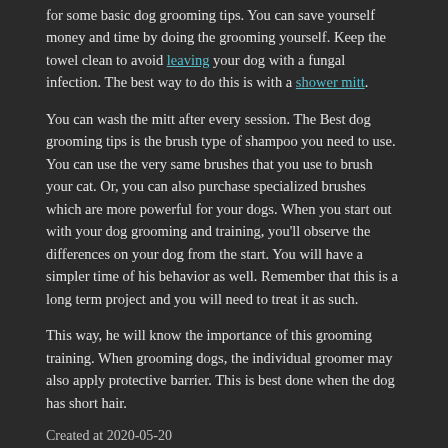for some basic dog grooming tips. You can save yourself money and time by doing the grooming yourself. Keep the towel clean to avoid leaving your dog with a fungal infection. The best way to do this is with a shower mitt.
You can wash the mitt after every session. The Best dog grooming tips is the brush type of shampoo you need to use. You can use the very same brushes that you use to brush your cat. Or, you can also purchase specialized brushes which are more powerful for your dogs. When you start out with your dog grooming and training, you'll observe the differences on your dog from the start. You will have a simpler time of his behavior as well. Remember that this is a long term project and you will need to treat it as such.
This way, he will know the importance of this grooming training. When grooming dogs, the individual groomer may also apply protective barrier. This is best done when the dog has short hair.
Created at 2020-05-20
0 ↑  Star ★
Back to posts
This post has no comments - be the first one!
UNDER MAINTENANCE